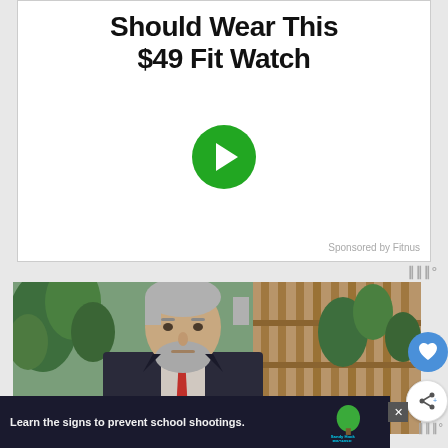[Figure (screenshot): Advertisement block with bold text headline 'Should Wear This $49 Fit Watch', a green circular play button in the center, and 'Sponsored by Fitnus' text at bottom right]
Sponsored by Fitnus
[Figure (photo): Photo of an older man with gray hair and beard, wearing a dark suit and red tie, looking to the side, with tropical plants and wooden slats in the background]
[Figure (screenshot): Bottom ad banner with dark background showing Sandy Hook Promise logo and text 'Learn the signs to prevent school shootings.']